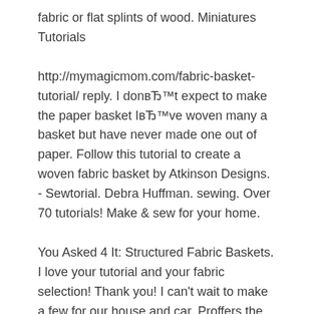fabric or flat splints of wood. Miniatures Tutorials
http://mymagicmom.com/fabric-basket-tutorial/ reply. I donвЂ™t expect to make the paper basket IвЂ™ve woven many a basket but have never made one out of paper. Follow this tutorial to create a woven fabric basket by Atkinson Designs. - Sewtorial. Debra Huffman. sewing. Over 70 tutorials! Make & sew for your home.
You Asked 4 It: Structured Fabric Baskets. I love your tutorial and your fabric selection! Thank you! I can't wait to make a few for our house and car. Proffers the cord along the top edge of the basket. On the sides you can leave the the handle tips of the cord tying a knot.
Fabric weaving is very similar to basket weaving. Learn how to create fabric with this Fabric Weaving вЂ“ Pincushion